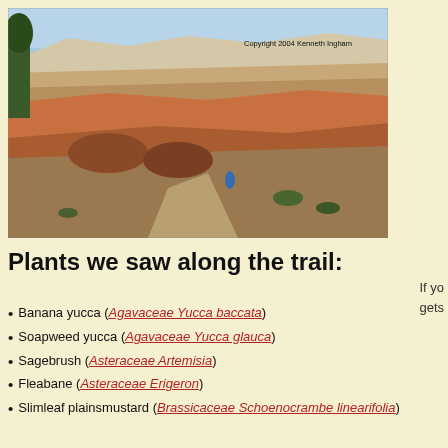[Figure (photo): Landscape photo of a desert canyon trail with red rock mesas, sparse vegetation, a hiker in blue, under a clear sky. Copyright 2004 Kenneth Ingham.]
If yo gets
Plants we saw along the trail:
Banana yucca (Agavaceae Yucca baccata)
Soapweed yucca (Agavaceae Yucca glauca)
Sagebrush (Asteraceae Artemisia)
Fleabane (Asteraceae Erigeron)
Slimleaf plainsmustard (Brassicaceae Schoenocrambe linearifolia)